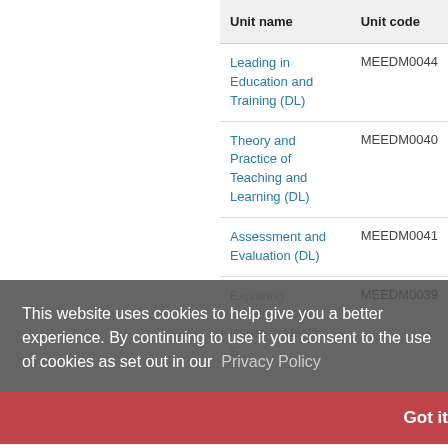| Unit name | Unit code |
| --- | --- |
| Leading in Education and Training (DL) | MEEDM0044 |
| Theory and Practice of Teaching and Learning (DL) | MEEDM0040 |
| Assessment and Evaluation (DL) | MEEDM0041 |
| Exploring contemporary issues in Health... | MEEDM0039 |
This website uses cookies to help give you a better experience. By continuing to use it you consent to the use of cookies as set out in our Privacy Policy